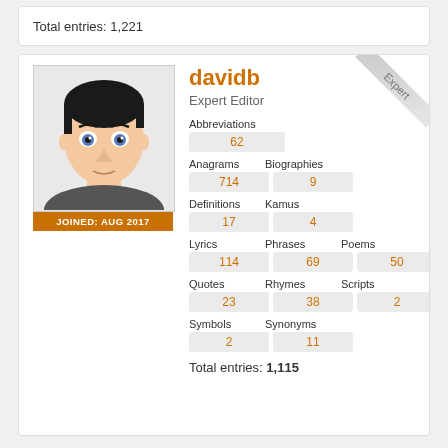Total entries: 1,221
davidb
Expert Editor
JOINED: AUG 2017
| Category | Value |
| --- | --- |
| Abbreviations | 62 |
| Anagrams | 714 |
| Biographies | 9 |
| Definitions | 17 |
| Kamus | 4 |
| Lyrics | 114 |
| Phrases | 69 |
| Poems | 50 |
| Quotes | 23 |
| Rhymes | 38 |
| Scripts | 2 |
| Symbols | 2 |
| Synonyms | 11 |
Total entries: 1,115